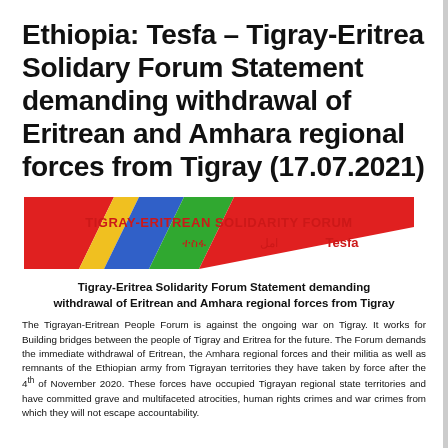Ethiopia: Tesfa – Tigray-Eritrea Solidary Forum Statement demanding withdrawal of Eritrean and Amhara regional forces from Tigray (17.07.2021)
[Figure (logo): Tigray-Eritrean Solidarity Forum logo with colorful diagonal stripes (red, yellow, blue, green) and text 'TIGRAY-ERITREAN SOLIDARITY FORUM' in red, with Tigrinya, Arabic and 'Tesfa' text below]
Tigray-Eritrea Solidarity Forum Statement demanding withdrawal of Eritrean and Amhara regional forces from Tigray
The Tigrayan-Eritrean People Forum is against the ongoing war on Tigray. It works for Building bridges between the people of Tigray and Eritrea for the future. The Forum demands the immediate withdrawal of Eritrean, the Amhara regional forces and their militia as well as remnants of the Ethiopian army from Tigrayan territories they have taken by force after the 4th of November 2020. These forces have occupied Tigrayan regional state territories and have committed grave and multifaceted atrocities, human rights crimes and war crimes from which they will not escape accountability.